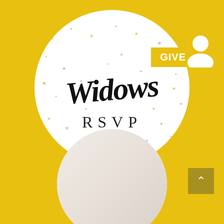[Figure (illustration): A circular graphic on yellow background showing 'Widows RSVP' text in script and spaced caps over a white background with gold and silver star confetti pattern. A GIVE button in yellow overlaps the top right of the circle. A white user/person icon appears top right. A second smaller circle at bottom shows a soft white/beige photo. A dark gold back-to-top arrow button is at bottom right.]